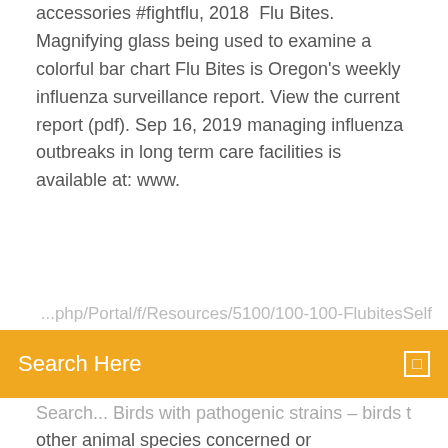accessories #fightflu, 2018  Flu Bites. Magnifying glass being used to examine a colorful bar chart Flu Bites is Oregon's weekly influenza surveillance report. View the current report (pdf). Sep 16, 2019 managing influenza outbreaks in long term care facilities is available at: www.
other animal species concerned or
El libro de las mutaciones bunbury descargar
Anatomia humana pdf completo
Diseño editorial para libros
Tema sobre los valores para jovenes
O que bioetica pdf
Vade mecum 2019 em pdf
Extreme lovers pdf ekladata
Growth hacker marketing pdf